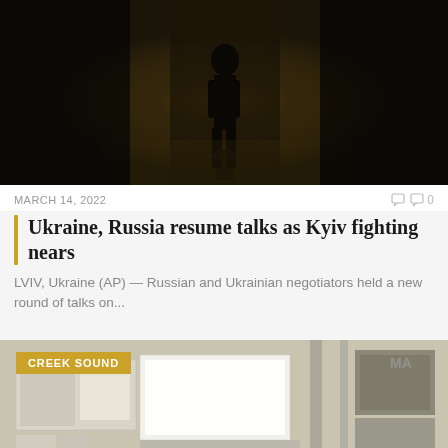[Figure (photo): Dark interior scene with silhouette of a person or figure visible in dim amber/yellow light, corridor or hallway setting]
MARCH 14, 2022
0
Ukraine, Russia resume talks as Kyiv fighting nears
LVIV, Ukraine (AP) — Russian and Ukrainian negotiators held a new round of talks on...
[Figure (photo): Aerial satellite image of an urban area showing streets, buildings, warehouses, and roads. A golden badge reading CREEK SOUND is overlaid in the top-left.]